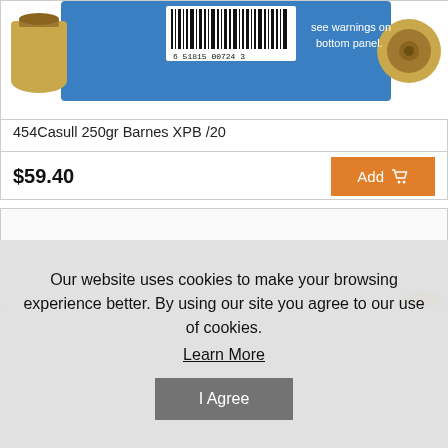[Figure (photo): Photo of 454 Casull ammunition box (blue) with brass cartridges and barcode 6 51815 00724 3, partially cropped at top]
454Casull 250gr Barnes XPB /20
$59.40
Add
Our website uses cookies to make your browsing experience better. By using our site you agree to our use of cookies.
Learn More
I Agree